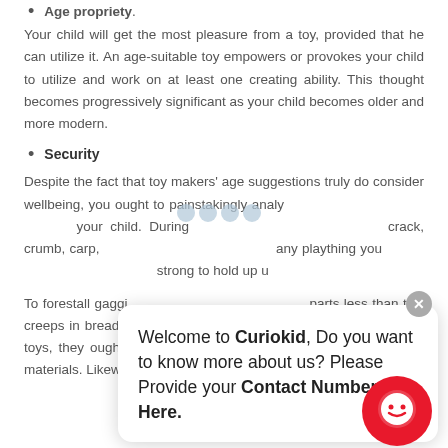Age propriety.
Your child will get the most pleasure from a toy, provided that he can utilize it. An age-suitable toy empowers or provokes your child to utilize and work on at least one creating ability. This thought becomes progressively significant as your child becomes older and more modern.
Security
Despite the fact that toy makers' age suggestions truly do consider wellbeing, you ought to painstakingly analyze any toy you need to buy for your child. During your investigation, search for crack, crumb, carp, or sharp edges. Ensure that any plaything you pick is durable and solid and strong to hold up under harsh handling.
To forestall gagging, keep away from toys with parts less than two creeps in breadth. Since your kid will, without a doubt, bite on his toys, they ought to be painted or gotten done with non-harmful materials. Likewise, keep away from any
[Figure (screenshot): Chat widget overlay showing 'Welcome to Curiokid, Do you want to know more about us? Please Provide your Contact Number Here.' with a close button and chat icon.]